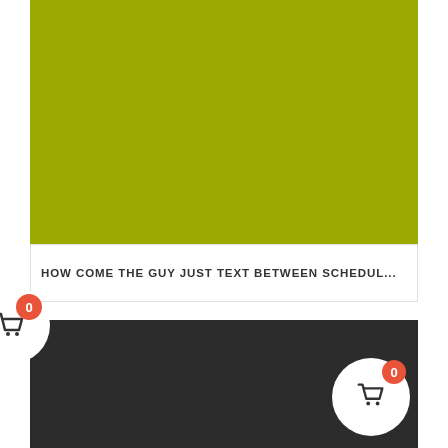[Figure (illustration): Solid olive/yellow-green colored rectangle block]
HOW COME THE GUY JUST TEXT BETWEEN SCHEDUL...
[Figure (illustration): Dark charcoal colored rectangle block with a shopping cart button overlay showing badge count 0]